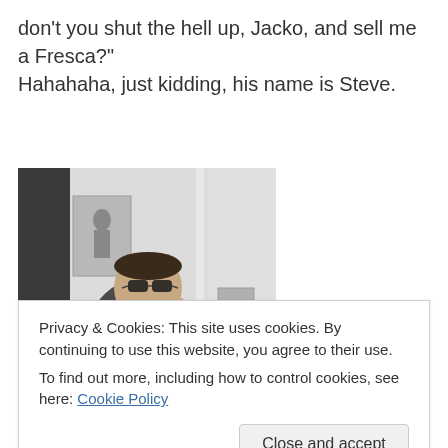don't you shut the hell up, Jacko, and sell me a Fresca?" Hahahaha, just kidding, his name is Steve.
[Figure (photo): Person taking a mirror selfie wearing sunglasses and a dark jacket, giving the middle finger with one hand and holding a phone with the other. Room visible in background with posters on wall.]
Privacy & Cookies: This site uses cookies. By continuing to use this website, you agree to their use.
To find out more, including how to control cookies, see here: Cookie Policy
[Figure (photo): Partial view of another photo at the bottom of the page, mostly cropped.]